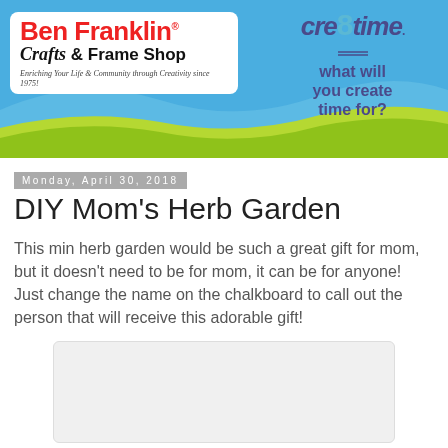[Figure (logo): Ben Franklin Crafts & Frame Shop banner with cre8time logo on blue background with green wave]
Monday, April 30, 2018
DIY Mom's Herb Garden
This min herb garden would be such a great gift for mom, but it doesn't need to be for mom, it can be for anyone! Just change the name on the chalkboard to call out the person that will receive this adorable gift!
[Figure (photo): Placeholder image area for herb garden photo]